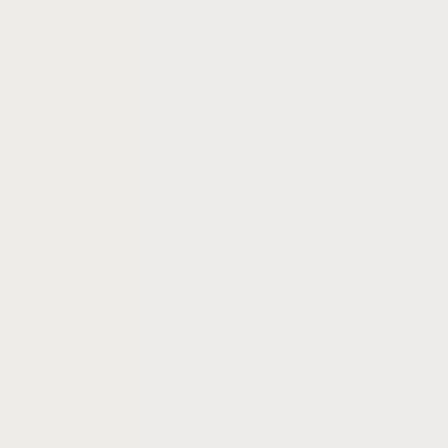on our organisms anyway, in the Martian environment. Dr. Zubrin also explains that it is very unlik